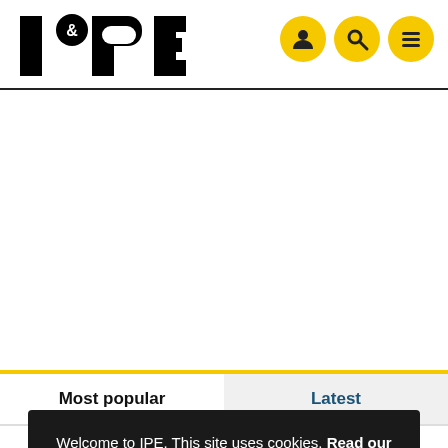IPE
Most popular
Latest
Welcome to IPE. This site uses cookies. Read our policy.
OK